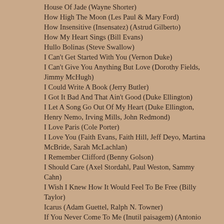House Of Jade (Wayne Shorter)
How High The Moon (Les Paul & Mary Ford)
How Insensitive (Insensatez) (Astrud Gilberto)
How My Heart Sings (Bill Evans)
Hullo Bolinas (Steve Swallow)
I Can't Get Started With You (Vernon Duke)
I Can't Give You Anything But Love (Dorothy Fields, Jimmy McHugh)
I Could Write A Book (Jerry Butler)
I Got It Bad And That Ain't Good (Duke Ellington)
I Let A Song Go Out Of My Heart (Duke Ellington, Henry Nemo, Irving Mills, John Redmond)
I Love Paris (Cole Porter)
I Love You (Faith Evans, Faith Hill, Jeff Deyo, Martina McBride, Sarah McLachlan)
I Remember Clifford (Benny Golson)
I Should Care (Axel Stordahl, Paul Weston, Sammy Cahn)
I Wish I Knew How It Would Feel To Be Free (Billy Taylor)
Icarus (Adam Guettel, Ralph N. Towner)
If You Never Come To Me (Inutil paisagem) (Antonio Carlos Jobim)
I'll Never Smile Again (Tommy Dorsey & His Orchestra)
I'll Remember April (Woody Herman & His